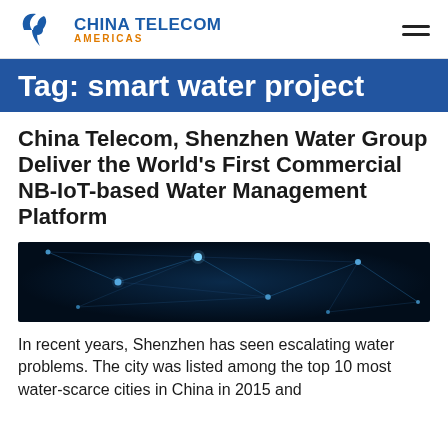China Telecom Americas
Tag: smart water project
China Telecom, Shenzhen Water Group Deliver the World's First Commercial NB-IoT-based Water Management Platform
[Figure (photo): Dark blue network/connectivity visualization with glowing nodes and connecting lines on a dark background]
In recent years, Shenzhen has seen escalating water problems. The city was listed among the top 10 most water-scarce cities in China in 2015 and